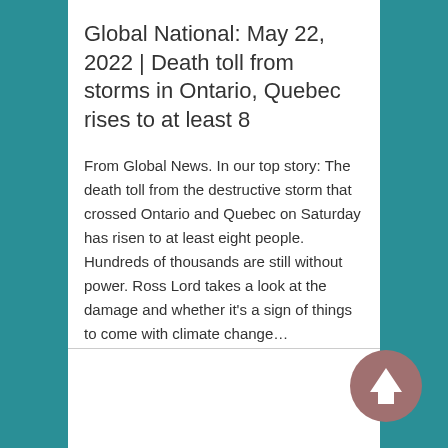Global National: May 22, 2022 | Death toll from storms in Ontario, Quebec rises to at least 8
From Global News. In our top story: The death toll from the destructive storm that crossed Ontario and Quebec on Saturday has risen to at least eight people. Hundreds of thousands are still without power. Ross Lord takes a look at the damage and whether it's a sign of things to come with climate change…
May 22, 2022 in Global News.
[Figure (other): Circular scroll-to-top button with upward arrow, mauve/rose color]